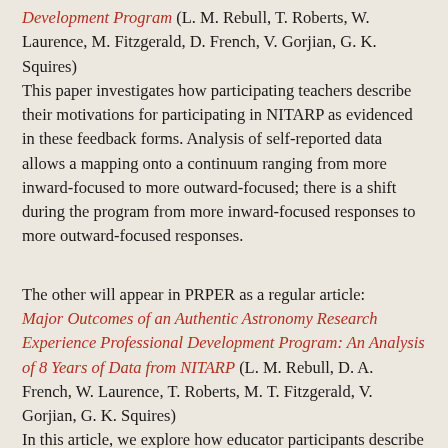Development Program (L. M. Rebull, T. Roberts, W. Laurence, M. Fitzgerald, D. French, V. Gorjian, G. K. Squires) This paper investigates how participating teachers describe their motivations for participating in NITARP as evidenced in these feedback forms. Analysis of self-reported data allows a mapping onto a continuum ranging from more inward-focused to more outward-focused; there is a shift during the program from more inward-focused responses to more outward-focused responses.
The other will appear in PRPER as a regular article: Major Outcomes of an Authentic Astronomy Research Experience Professional Development Program: An Analysis of 8 Years of Data from NITARP (L. M. Rebull, D. A. French, W. Laurence, T. Roberts, M. T. Fitzgerald, V. Gorjian, G. K. Squires) In this article, we explore how educator participants describe the major changes and outcomes in themselves fostered by NITARP. For example, three-quarters of the educators self-report some or major changes in their understanding of the nature of